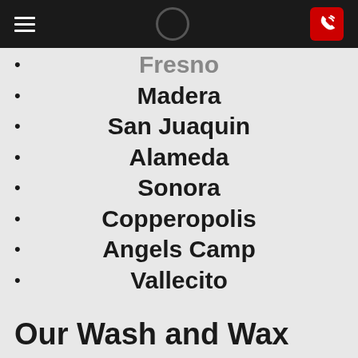navigation header with hamburger menu, circle icon, and phone button
Fresno
Madera
San Juaquin
Alameda
Sonora
Copperopolis
Angels Camp
Vallecito
Our Wash and Wax